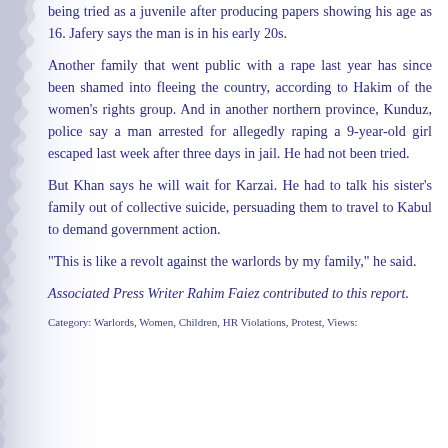being tried as a juvenile after producing papers showing his age as 16. Jafery says the man is in his early 20s.
Another family that went public with a rape last year has since been shamed into fleeing the country, according to Hakim of the women's rights group. And in another northern province, Kunduz, police say a man arrested for allegedly raping a 9-year-old girl escaped last week after three days in jail. He had not been tried.
But Khan says he will wait for Karzai. He had to talk his sister's family out of collective suicide, persuading them to travel to Kabul to demand government action.
"This is like a revolt against the warlords by my family," he said.
Associated Press Writer Rahim Faiez contributed to this report.
Category: Warlords, Women, Children, HR Violations, Protest, Views: